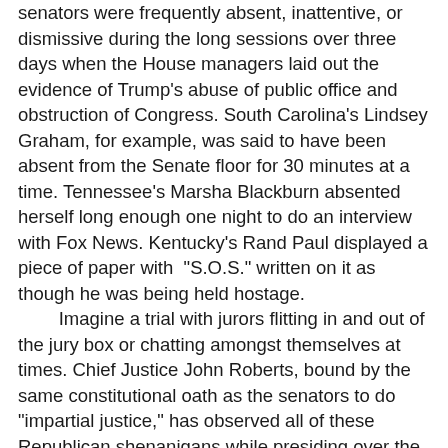senators were frequently absent, inattentive, or dismissive during the long sessions over three days when the House managers laid out the evidence of Trump's abuse of public office and obstruction of Congress. South Carolina's Lindsey Graham, for example, was said to have been absent from the Senate floor for 30 minutes at a time. Tennessee's Marsha Blackburn absented herself long enough one night to do an interview with Fox News. Kentucky's Rand Paul displayed a piece of paper with "S.O.S." written on it as though he was being held hostage.
	Imagine a trial with jurors flitting in and out of the jury box or chatting amongst themselves at times. Chief Justice John Roberts, bound by the same constitutional oath as the senators to do "impartial justice," has observed all of these Republican shenanigans while presiding over the trial, but has said nothing to admonish them to behave themselves.
	By his lights, Roberts may think he is living up to his confirmation-hearing standard of being a neutral umpire, but he is not being even-handed by ignoring the misbehaving Republicans. An umpire who ignores the chirping from the home-team dugout while the visitors behave well in theirs would be giving the home-team an edge, just as Roberts is favoring the Republicans by letting them get away with their